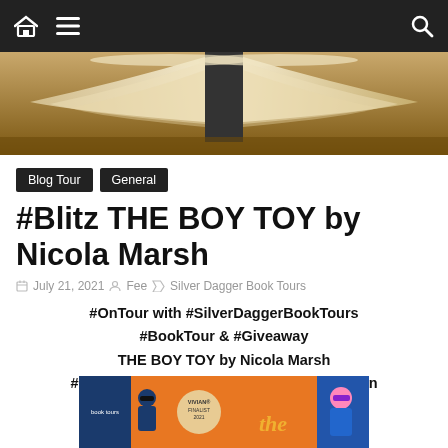Navigation bar with home, menu, and search icons
[Figure (photo): Open book on a wooden surface, viewed from above, with pages fanned out, warm toned image]
Blog Tour
General
#Blitz THE BOY TOY by Nicola Marsh
July 21, 2021   Fee   Silver Dagger Book Tours
#OnTour with #SilverDaggerBookTours
#BookTour & #Giveaway
THE BOY TOY by Nicola Marsh
#Romantic #Comedy #RomCom #RWAVivian
#TheBoyToy @NicolaMarshAuthor
[Figure (photo): Book cover for 'The Boy Toy' by Nicola Marsh, orange background with illustrated characters wearing sunglasses, Vivian Finalist 2021 seal]